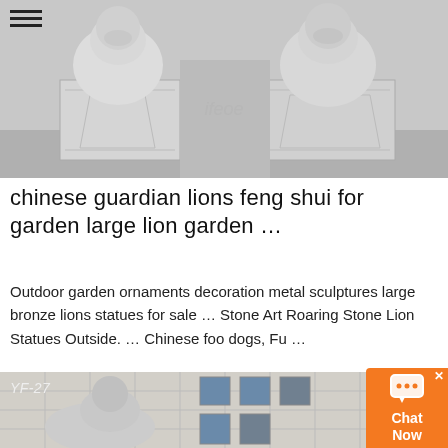[Figure (photo): Black and white photo of Chinese guardian lion stone statues on pedestals outdoors]
chinese guardian lions feng shui for garden large lion garden …
Outdoor garden ornaments decoration metal sculptures large bronze lions statues for sale … Stone Art Roaring Stone Lion Statues Outside. … Chinese foo dogs, Fu …
[Figure (photo): Photo of a large white marble or stone lion statue against a building with tiled exterior, labeled YF-27]